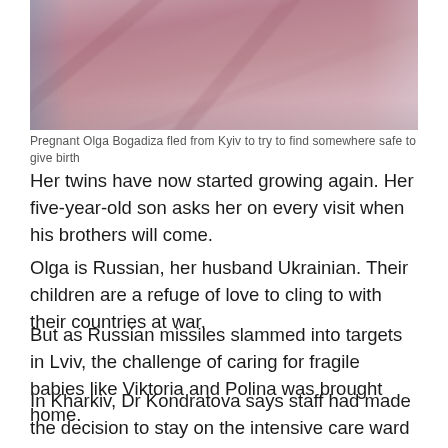[Figure (photo): Photo of a pregnant woman in a pink/mauve velour robe, sitting in what appears to be a hospital or medical setting. The image is cropped to show the torso area.]
Pregnant Olga Bogadiza fled from Kyiv to try to find somewhere safe to give birth
Her twins have now started growing again. Her five-year-old son asks her on every visit when his brothers will come.
Olga is Russian, her husband Ukrainian. Their children are a refuge of love to cling to with their countries at war.
But as Russian missiles slammed into targets in Lviv, the challenge of caring for fragile babies like Viktoria and Polina was brought home.
In Kharkiv, Dr Kondratova says staff had made the decision to stay on the intensive care ward with the smallest babies, even after air-raid warnings.